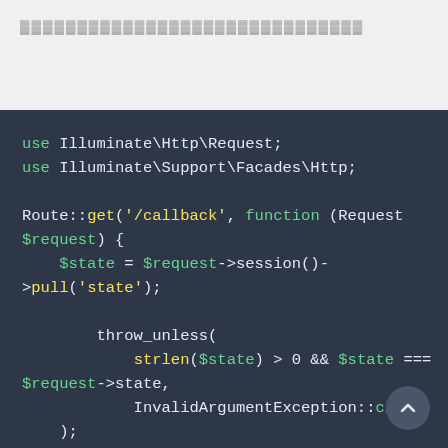▓▓▓▓▓▓▓▓▓▓▓▓▓▓▓▓▓▓▓▓▓▓▓▓▓▓▓▓▓▓
use Illuminate\Http\Request;
use Illuminate\Support\Facades\Http;

Route::get('/callback', function (Request $request) {
    $state = $request->session()->
->pull('state');

        throw_unless(
            strlen($state) > 0 && $state === $request->state,
            InvalidArgumentException::class
    );

        $response = Http::asForm()->
->post('http://passport-